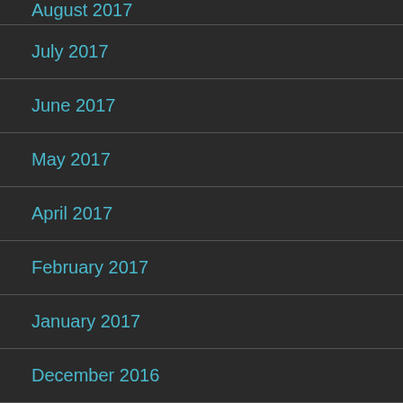August 2017
July 2017
June 2017
May 2017
April 2017
February 2017
January 2017
December 2016
November 2016